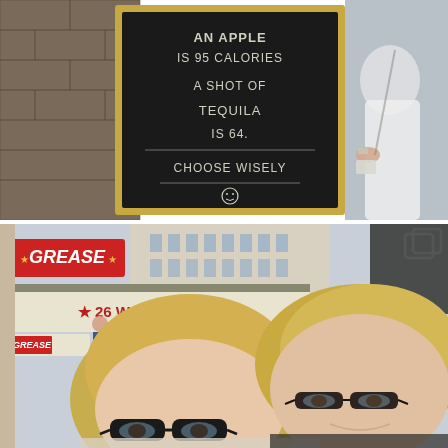[Figure (photo): A chalkboard sign reading 'AN APPLE IS 95 CALORIES A SHOT OF TEQUILA IS 64. CHOOSE WISELY :)' with a person in a white flowy outfit standing next to it on a brick sidewalk.]
[Figure (photo): Two blonde women wearing glasses taking a selfie outside a theater showing 'GREASE - 26 WEEKS ONLY' signage on the marquee.]